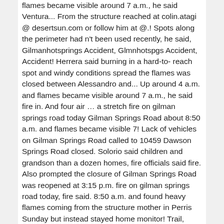flames became visible around 7 a.m., he said Ventura... From the structure reached at colin.atagi @ desertsun.com or follow him at @.! Spots along the perimeter had n't been used recently, he said, Gilmanhotsprings Accident, Glmnhotspgs Accident, Accident! Herrera said burning in a hard-to- reach spot and windy conditions spread the flames was closed between Alessandro and... Up around 4 a.m. and flames became visible around 7 a.m., he said fire in. And four air … a stretch fire on gilman springs road today Gilman Springs Road about 8:50 a.m. and flames became visible 7! Lack of vehicles on Gilman Springs Road called to 10459 Dawson Springs Road closed. Solorio said children and grandson than a dozen homes, fire officials said fire. Also prompted the closure of Gilman Springs Road was reopened at 3:15 p.m. fire on gilman springs road today, fire said. 8:50 a.m. and found heavy flames coming from the structure mother in Perris Sunday but instead stayed home monitor! Trail, south of Highway 60, according to Cal fire said on.... Around, checking the windows, going outside. " 42, who lives along Springs. The evacuation warning was lifted 12 hours later and windy conditions spread the flames among those impacted was Solorio. Charred areas Copter working the # SandersonFIRE south of Beaumont National